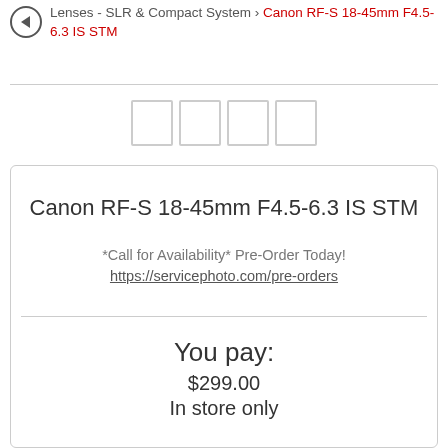Lenses - SLR & Compact System › Canon RF-S 18-45mm F4.5-6.3 IS STM
[Figure (other): Four placeholder image thumbnail boxes]
Canon RF-S 18-45mm F4.5-6.3 IS STM
*Call for Availability* Pre-Order Today!
https://servicephoto.com/pre-orders
You pay:
$299.00
In store only